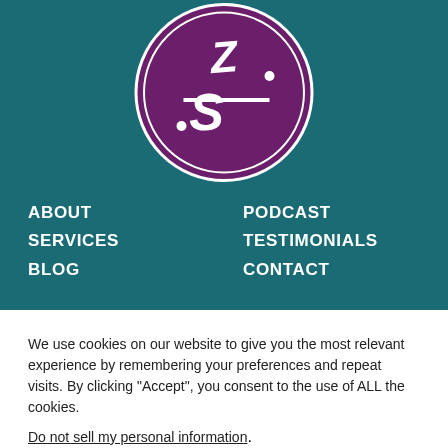[Figure (logo): Circular logo with purple/maroon background and white stylized SZ or ZS monogram letters, double white circle border, on teal background]
ABOUT
SERVICES
BLOG
PODCAST
TESTIMONIALS
CONTACT
We use cookies on our website to give you the most relevant experience by remembering your preferences and repeat visits. By clicking “Accept”, you consent to the use of ALL the cookies.
Do not sell my personal information.